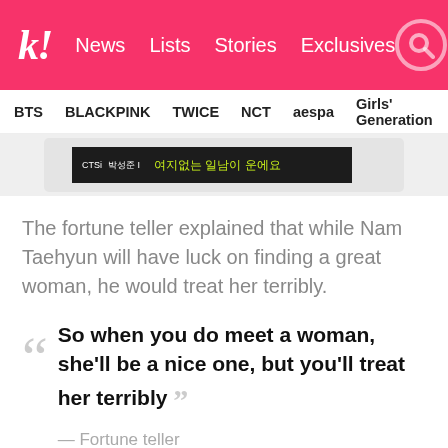k! News Lists Stories Exclusives
BTS BLACKPINK TWICE NCT aespa Girls' Generation
[Figure (photo): Partial image of what appears to be a video or album with Korean text on a black bar]
The fortune teller explained that while Nam Taehyun will have luck on finding a great woman, he would treat her terribly.
So when you do meet a woman, she'll be a nice one, but you'll treat her terribly — Fortune teller